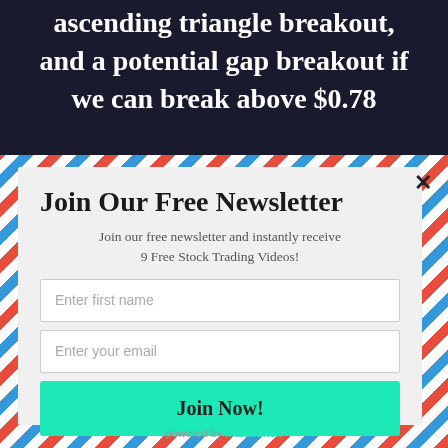ascending triangle breakout, and a potential gap breakout if we can break above $0.78
Join Our Free Newsletter
Join our free newsletter and instantly receive 9 Free Stock Trading Videos!
Enter first name
Enter your email
Join Now!
powered by MailMunch